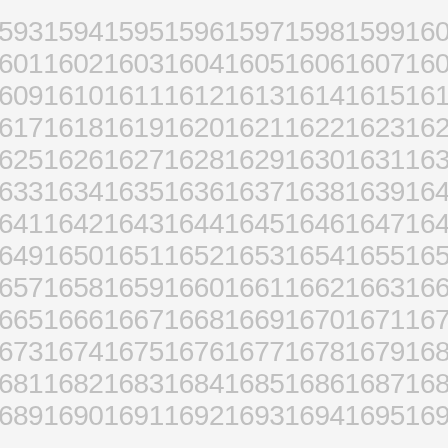1593 1594 1595 1596 1597 1598 1599 1600
1601 1602 1603 1604 1605 1606 1607 1608
1609 1610 1611 1612 1613 1614 1615 1616
1617 1618 1619 1620 1621 1622 1623 1624
1625 1626 1627 1628 1629 1630 1631 1632
1633 1634 1635 1636 1637 1638 1639 1640
1641 1642 1643 1644 1645 1646 1647 1648
1649 1650 1651 1652 1653 1654 1655 1656
1657 1658 1659 1660 1661 1662 1663 1664
1665 1666 1667 1668 1669 1670 1671 1672
1673 1674 1675 1676 1677 1678 1679 1680
1681 1682 1683 1684 1685 1686 1687 1688
1689 1690 1691 1692 1693 1694 1695 1696